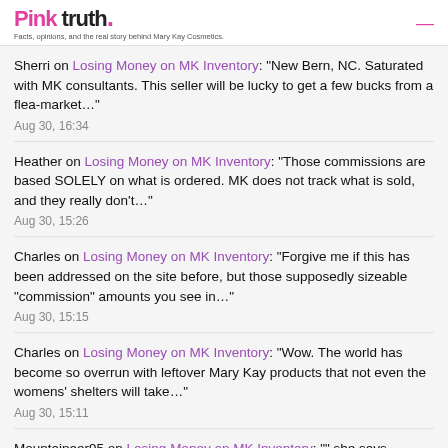Pink truth. Facts, opinions, and the real story behind Mary Kay Cosmetics.
Sherri on Losing Money on MK Inventory: "New Bern, NC. Saturated with MK consultants. This seller will be lucky to get a few bucks from a flea-market…" Aug 30, 16:34
Heather on Losing Money on MK Inventory: "Those commissions are based SOLELY on what is ordered. MK does not track what is sold, and they really don't…" Aug 30, 15:26
Charles on Losing Money on MK Inventory: "Forgive me if this has been addressed on the site before, but those supposedly sizeable “commission” amounts you see in…" Aug 30, 15:15
Charles on Losing Money on MK Inventory: "Wow. The world has become so overrun with leftover Mary Kay products that not even the womens’ shelters will take…" Aug 30, 15:11
Mountaineer95 on Losing Money on MK Inventory: "" she says